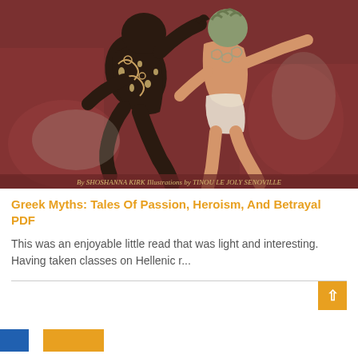[Figure (illustration): Book cover illustration showing two figures in dynamic poses against a dark red/maroon background. One figure is dark/black with decorative swirling patterns and white spots, the other figure wears white. Text at bottom reads 'By SHOSHANNA KIRK  Illustrations by TINOU LE JOLY SENOVILLE'. This is the cover of 'Greek Myths: Tales Of Passion, Heroism, And Betrayal'.]
Greek Myths: Tales Of Passion, Heroism, And Betrayal PDF
This was an enjoyable little read that was light and interesting. Having taken classes on Hellenic r...